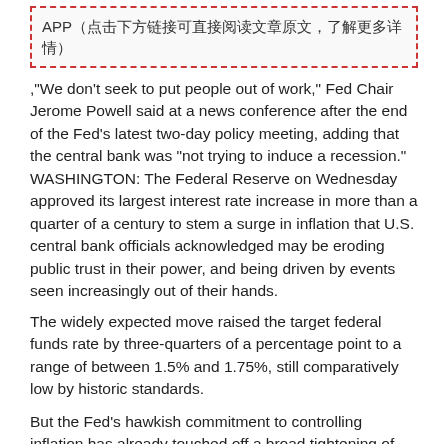APP（点击下方链接可直接阅读文章原文，了解更多详情）
,"We don't seek to put people out of work," Fed Chair Jerome Powell said at a news conference after the end of the Fed's latest two-day policy meeting, adding that the central bank was "not trying to induce a recession."
WASHINGTON: The Federal Reserve on Wednesday approved its largest interest rate increase in more than a quarter of a century to stem a surge in inflation that U.S. central bank officials acknowledged may be eroding public trust in their power, and being driven by events seen increasingly out of their hands.
The widely expected move raised the target federal funds rate by three-quarters of a percentage point to a range of between 1.5% and 1.75%, still comparatively low by historic standards.
But the Fed's hawkish commitment to controlling inflation has already touched off a broad tightening of credit conditions being felt in U.S. housing and stock markets, and likely to slow demand throughout the economy - the Fed's intent.
Officials also envision steady rate increases through the rest of